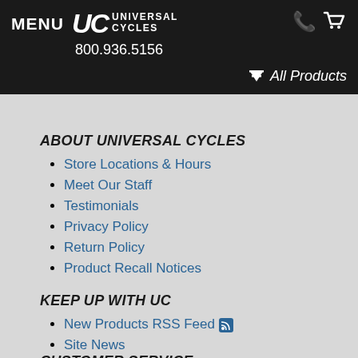MENU | UC UNIVERSAL CYCLES | 800.936.5156 | All Products
ABOUT UNIVERSAL CYCLES
Store Locations & Hours
Meet Our Staff
Testimonials
Privacy Policy
Return Policy
Product Recall Notices
KEEP UP WITH UC
New Products RSS Feed
Site News
VIP Newsletter Signup
Read Our Blog
CUSTOMER SERVICE